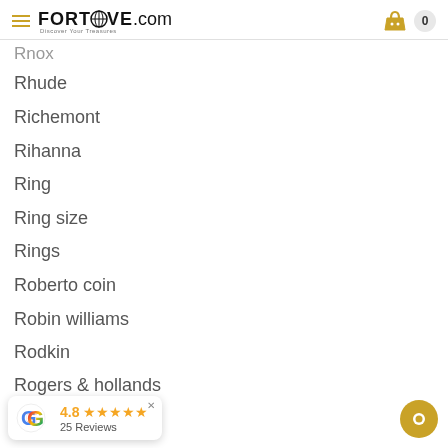FORTROVE.com — Discover Your Treasures
Rnox
Rhude
Richemont
Rihanna
Ring
Ring size
Rings
Roberto coin
Robin williams
Rodkin
Rogers & hollands
4.8 ★★★★★ 25 Reviews